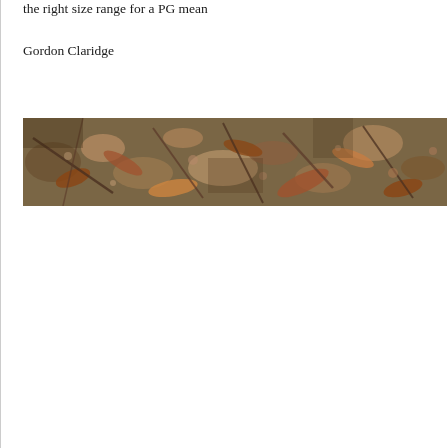the right size range for a PG mean
Gordon Claridge
[Figure (photo): A wide horizontal photograph showing a ground-level view of leaf litter, twigs, and soil — typical habitat or specimen collection environment photograph.]